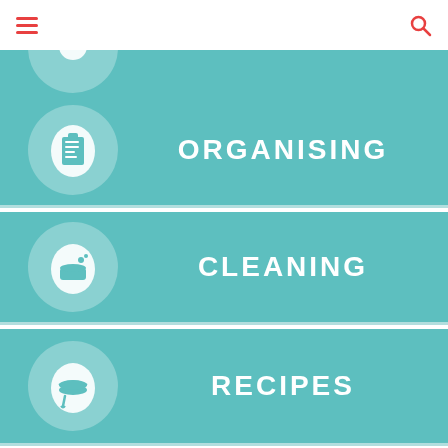Navigation header with hamburger menu and search icon
[Figure (infographic): Teal banner with icon, partially cropped at top]
[Figure (infographic): Teal banner with checklist/todo-list icon and label ORGANISING]
[Figure (infographic): Teal banner with soap/cleaning icon and label CLEANING]
[Figure (infographic): Teal banner with bowl and spoon icon and label RECIPES]